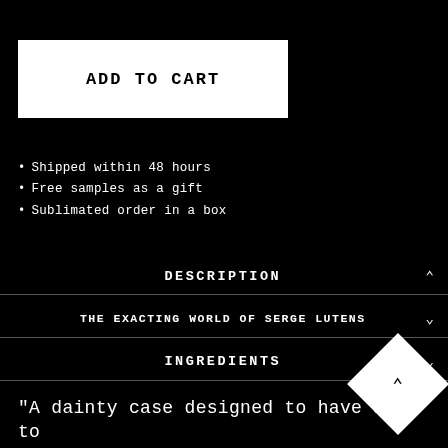ADD TO CART
Shipped within 48 hours
Free samples as a gift
Sublimated order in a box
DESCRIPTION
THE EXACTING WORLD OF SERGE LUTENS
INGREDIENTS
"A dainty case designed to have and to